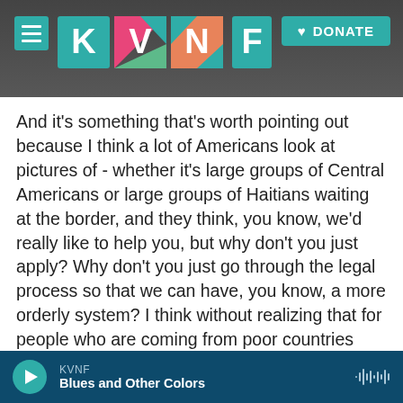[Figure (screenshot): KVNF radio website header with logo and Donate button on a dark rocky background image]
And it's something that's worth pointing out because I think a lot of Americans look at pictures of - whether it's large groups of Central Americans or large groups of Haitians waiting at the border, and they think, you know, we'd really like to help you, but why don't you just apply? Why don't you just go through the legal process so that we can have, you know, a more orderly system? I think without realizing that for people who are coming from poor countries and who are disadvantaged themselves, they don't really have another legal option to pursue, and that's why they're coming in
KVNF
Blues and Other Colors